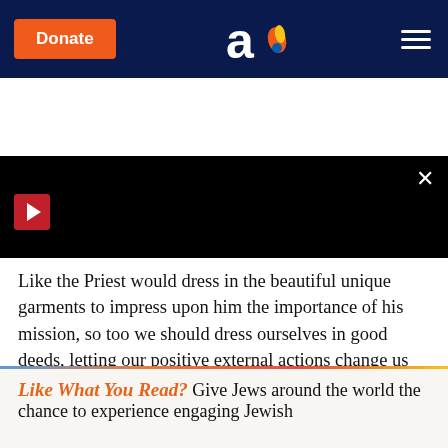Donate | Aish logo | Menu
[Figure (screenshot): Black video/banner area with play button, close X, READ MORE button, and navigation tabs at bottom]
Like the Priest would dress in the beautiful unique garments to impress upon him the importance of his mission, so too we should dress ourselves in good deeds, letting our positive external actions change us for the better.
Like What You Read? Give Jews around the world the chance to experience engaging Jewish